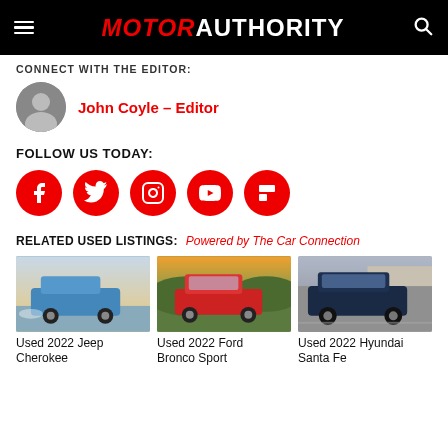MOTOR AUTHORITY
CONNECT WITH THE EDITOR:
John Coyle – Editor
FOLLOW US TODAY:
[Figure (infographic): Five red circular social media icons: Facebook, Twitter, Instagram, YouTube, Flipboard]
RELATED USED LISTINGS: Powered by The Car Connection
[Figure (photo): Used 2022 Jeep Cherokee driving through water on a beach]
[Figure (photo): Used 2022 Ford Bronco Sport parked in a green landscape]
[Figure (photo): Used 2022 Hyundai Santa Fe parked in front of a building]
Used 2022 Jeep Cherokee
Used 2022 Ford Bronco Sport
Used 2022 Hyundai Santa Fe